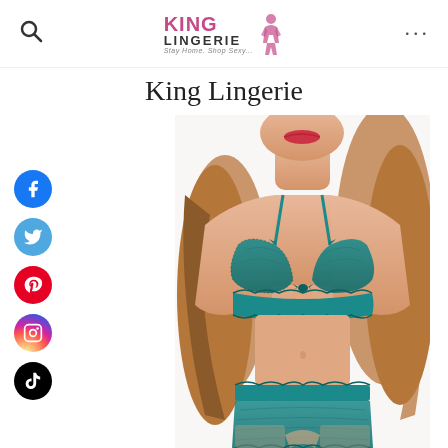King Lingerie — Stay Home. Shop Sexy...
King Lingerie
[Figure (logo): King Lingerie logo with silhouette figure, pink and black text, tagline 'Stay Home. Shop Sexy...']
[Figure (photo): Woman wearing teal/turquoise lace lingerie set (bralette and panty), product photo for King Lingerie]
[Figure (infographic): Social media icons column: Facebook (blue), Twitter (light blue), Pinterest (red), Instagram (gradient), TikTok (black)]